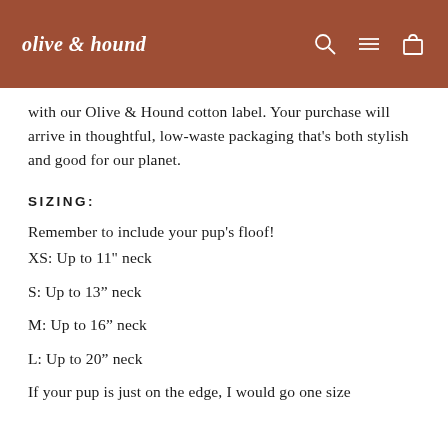olive & hound
with our Olive & Hound cotton label. Your purchase will arrive in thoughtful, low-waste packaging that's both stylish and good for our planet.
SIZING:
Remember to include your pup's floof!
XS: Up to 11" neck
S: Up to 13" neck
M: Up to 16" neck
L: Up to 20" neck
If your pup is just on the edge, I would go one size